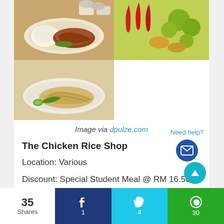[Figure (photo): Four-panel food photo grid showing chicken rice dishes: top-left shows roast chicken with rice and condiments, top-right shows a bowl of noodle soup with vegetables and chili, bottom-left shows steamed chicken pieces on a plate, bottom-right (continuation of top-right) is a large bowl of curry noodle soup]
Image via dpulze.com
The Chicken Rice Shop
Location: Various
Discount: Special Student Meal @ RM 16.50 (T&C apply)
Need help?
35 Shares | Facebook: 1 | Twitter: 4 | WhatsApp: 30